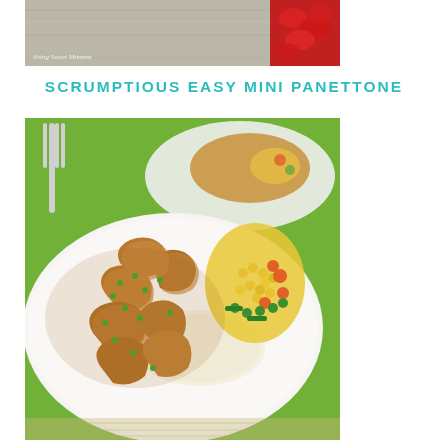[Figure (photo): Partial top photo showing a holiday-themed food image with a red poinsettia or decoration visible on the right and the watermark 'Living Sweet Moments' in the lower left]
SCRUMPTIOUS EASY MINI PANETTONE
[Figure (photo): A white plate filled with chunks of braised or sautéed chicken in a brown sauce, topped with chopped green onions, surrounded by mixed vegetables including yellow corn, orange carrots, and green peas, with white rice underneath. A fork is visible in the background along with a second plate. The background is a green tablecloth.]